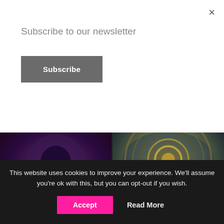Subscribe to our newsletter
Subscribe
×
[Figure (photo): Dark silhouette of a person from behind, cinematic purple/red tones with text overlay 'What to Watch on OSN+ in September']
What to Watch on OSN+ in September
[Figure (photo): Aerial view of an ornate circular pavilion dome with gold/teal tones, text overlay 'EXPO WELCOMES BACK TWO OF ITS ICONIC PAVILIONS']
EXPO WELCOMES BACK TWO OF ITS ICONIC PAVILIONS
[Figure (photo): Chefs in white uniforms cooking with dramatic steam/smoke at W Abu Dhabi Yas Island, text overlay 'W Abu Dhabi – Yas Island's B.I.G. Party Brunch is BACK']
W Abu Dhabi – Yas Island's B.I.G. Party Brunch is BACK
[Figure (photo): Young person wearing VR headset in purple/orange lit gaming environment, text overlay 'Young gamers are globally embracing the metaverse']
Young gamers are globally embracing the metaverse
This website uses cookies to improve your experience. We'll assume you're ok with this, but you can opt-out if you wish.
Accept
Read More